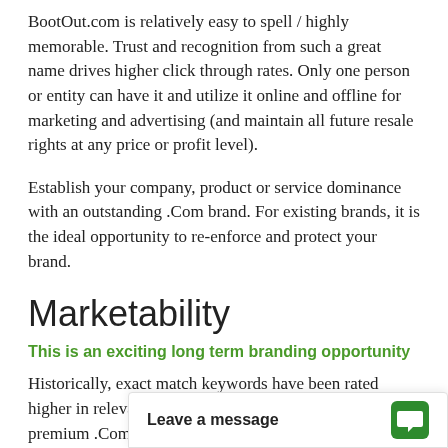BootOut.com is relatively easy to spell / highly memorable. Trust and recognition from such a great name drives higher click through rates. Only one person or entity can have it and utilize it online and offline for marketing and advertising (and maintain all future resale rights at any price or profit level).
Establish your company, product or service dominance with an outstanding .Com brand. For existing brands, it is the ideal opportunity to re-enforce and protect your brand.
Marketability
This is an exciting long term branding opportunity
Historically, exact match keywords have been rated higher in relevancy for search engine ranking. A super-premium .Com domain backed by the DomainMarket.com...
Leave a message